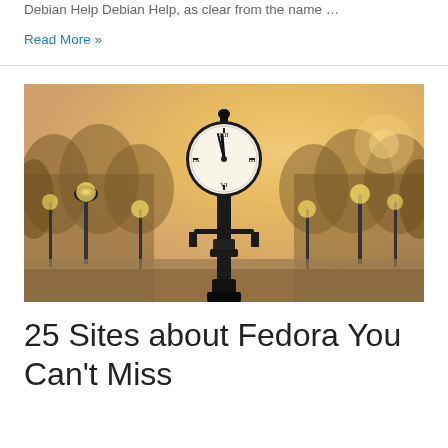Debian Help Debian Help, as clear from the name …
Read More »
[Figure (photo): A tall ornate street clock on a pole lit from below, with glowing street lamps and bare autumn trees lining an avenue in soft golden foggy light.]
25 Sites about Fedora You Can't Miss